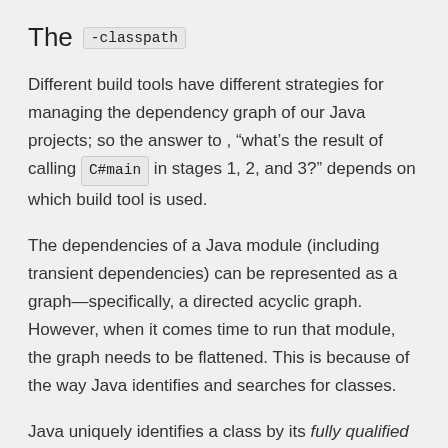The -classpath
Different build tools have different strategies for managing the dependency graph of our Java projects; so the answer to , “what’s the result of calling C#main in stages 1, 2, and 3?” depends on which build tool is used.
The dependencies of a Java module (including transient dependencies) can be represented as a graph—specifically, a directed acyclic graph. However, when it comes time to run that module, the graph needs to be flattened. This is because of the way Java identifies and searches for classes.
Java uniquely identifies a class by its fully qualified name, which is its package and class name. Java